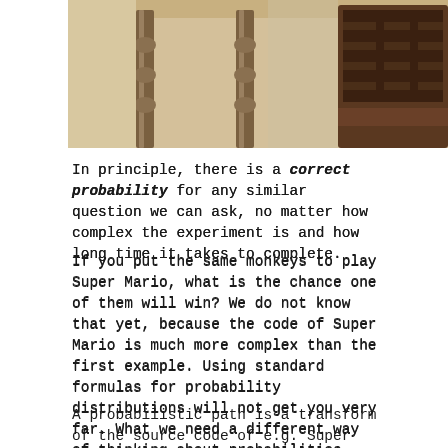[Figure (photo): Partial photo showing legs of a wooden table and a dark wooden chair, painting or illustration style with warm brown tones]
In principle, there is a correct probability for any similar question we can ask, no matter how complex the experiment is and how long time it takes to complete.
If you put the same monkeys to play Super Mario, what is the chance one of them will win? We do not know that yet, because the code of Super Mario is much more complex than the first example. Using standard formulas for probability distributions will not get you very far. What we need a different way of thinking about probabilities that can be interpreted from programs.
A probabilistic path is a transform of the source code of e.g. Super Mario, such that you can compute how likely a monkey is to win the game.
A probabiliti...